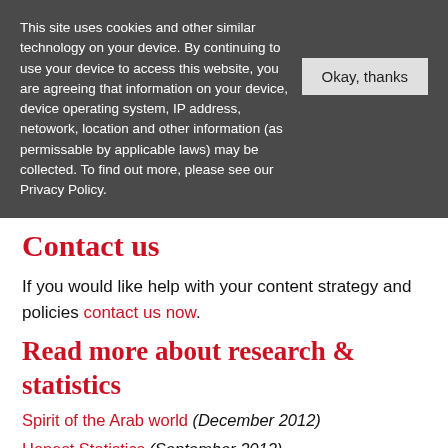This site uses cookies and other similar technology on your device. By continuing to use your device to access this website, you are agreeing that information on your device, device operating system, IP address, netowork, location and other information (as permissable by applicable laws) may be collected. To find out more, please see our Privacy Policy.
Okay, thanks
Contact us
If you would like help with your content strategy and policies contact us now.
Read more about research & statistics
Spirit of the Arab world (December 2012)
Honest Statistics (September 2012)
What were those Facebook stats again? (June 2012)